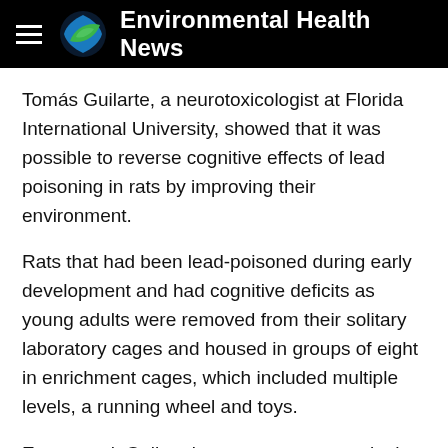Environmental Health News
Tomás Guilarte, a neurotoxicologist at Florida International University, showed that it was possible to reverse cognitive effects of lead poisoning in rats by improving their environment.
Rats that had been lead-poisoned during early development and had cognitive deficits as young adults were removed from their solitary laboratory cages and housed in groups of eight in enrichment cages, which included multiple levels, a running wheel and toys.
Every week Guilarte's team put new toys in the cage. "There was a constant novelty that they